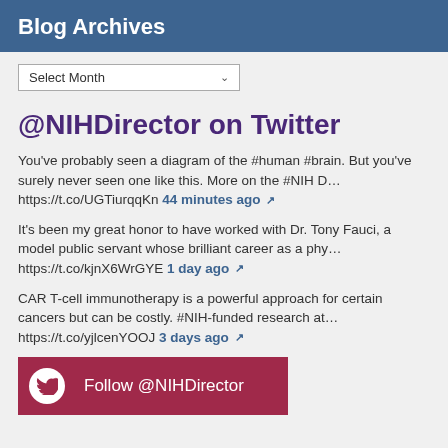Blog Archives
Select Month
@NIHDirector on Twitter
You've probably seen a diagram of the #human #brain. But you've surely never seen one like this. More on the #NIH D… https://t.co/UGTiurqqKn 44 minutes ago
It's been my great honor to have worked with Dr. Tony Fauci, a model public servant whose brilliant career as a phy… https://t.co/kjnX6WrGYE 1 day ago
CAR T-cell immunotherapy is a powerful approach for certain cancers but can be costly. #NIH-funded research at… https://t.co/yjlcenYOOJ 3 days ago
Follow @NIHDirector